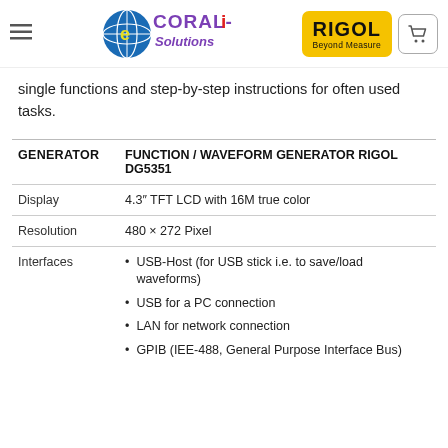Coral-e Solutions / RIGOL Beyond Measure
single functions and step-by-step instructions for often used tasks.
|  |  |
| --- | --- |
| GENERATOR | FUNCTION / WAVEFORM GENERATOR RIGOL DG5351 |
| Display | 4.3" TFT LCD with 16M true color |
| Resolution | 480 × 272 Pixel |
| Interfaces | USB-Host (for USB stick i.e. to save/load waveforms)
USB for a PC connection
LAN for network connection
GPIB (IEE-488, General Purpose Interface Bus) |